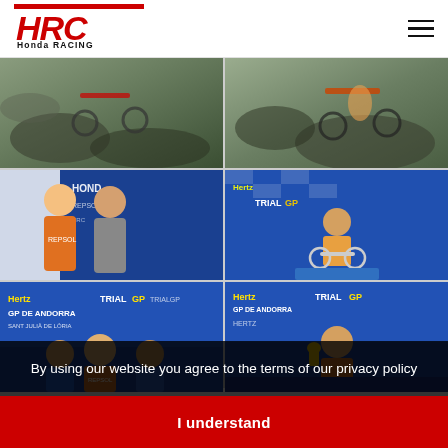[Figure (logo): Honda Racing Corporation (HRC) logo with red HRC lettering and Honda RACING text below]
[Figure (photo): Motorbike trial rider on rocky terrain with motorcycle, outdoor rocky landscape]
[Figure (photo): Trial motorcycle rider on steep rocky terrain, outdoor competition]
[Figure (photo): Two people posing together at Honda/Repsol branded backdrop, one in racing gear]
[Figure (photo): Trial GP Andorra event, rider on Honda trial bike on blue branded podium stage]
[Figure (photo): Hertz GP de Andorra Trial GP event, riders at press conference with blue branded backdrop]
[Figure (photo): Hertz GP de Andorra Trial GP event, rider on podium with trophy and blue branded backdrop]
By using our website you agree to the terms of our privacy policy
I understand